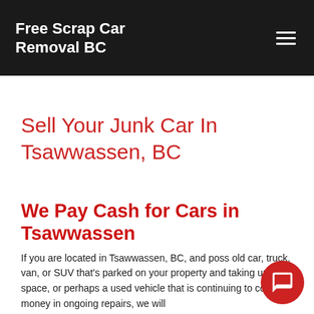Free Scrap Car Removal BC
Sell Your Junk Car In Tsawwassen, BC
We Pay Cash for Cars in Tsawwassen
If you are located in Tsawwassen, BC, and poss old car, truck, van, or SUV that's parked on your property and taking up space, or perhaps a used vehicle that is continuing to cost you money in ongoing repairs, we will